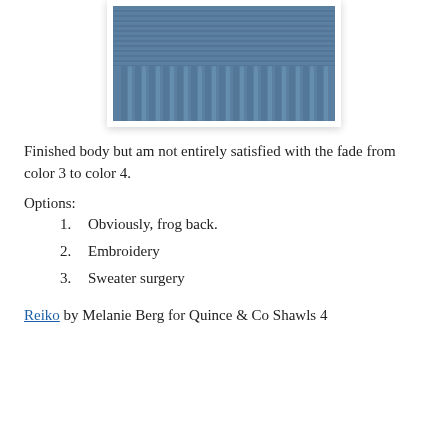[Figure (photo): Close-up photo of blue knitted fabric showing ribbing texture at the bottom edge]
Finished body but am not entirely satisfied with the fade from color 3 to color 4.
Options:
1.    Obviously, frog back.
2.    Embroidery
3.    Sweater surgery
Reiko by Melanie Berg for Quince & Co Shawls 4